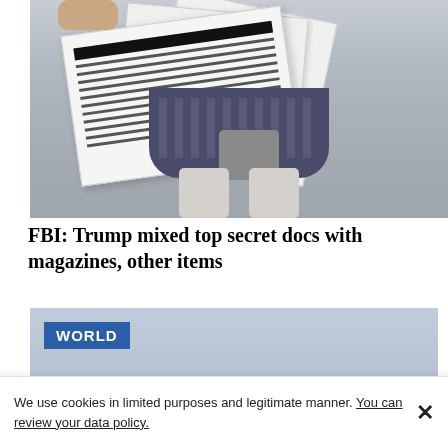[Figure (photo): Person holding a large stack of loose papers/documents, lower body visible wearing a patterned skirt and white sneakers, with a bag]
FBI: Trump mixed top secret docs with magazines, other items
[Figure (photo): World news section image showing an aircraft against a light blue sky, with a 'WORLD' category badge overlay]
We use cookies in limited purposes and legitimate manner. You can review your data policy.